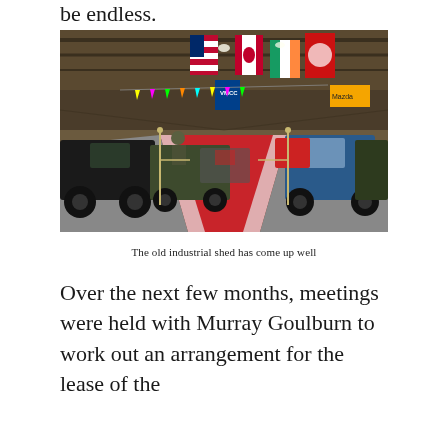be endless.
[Figure (photo): Interior of a large industrial shed converted into a vehicle museum. A red carpet runs down the center aisle. Vintage military and civilian vehicles are displayed on both sides. Numerous flags including US, Canadian, and Irish flags hang from the ceiling rafters.]
The old industrial shed has come up well
Over the next few months, meetings were held with Murray Goulburn to work out an arrangement for the lease of the